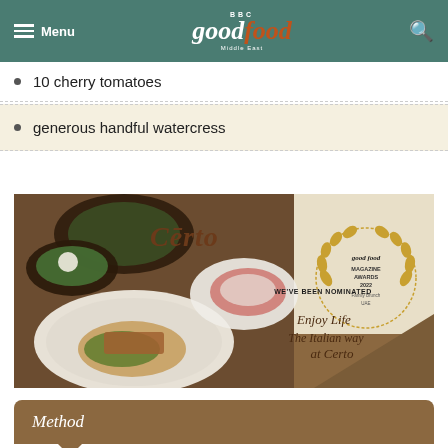BBC good food Middle East — Menu / Search
10 cherry tomatoes
generous handful watercress
[Figure (illustration): Certo restaurant advertisement showing plated Italian dishes, BBC Good Food Magazine Awards 2022 Family Brunch UAE nomination badge, and the tagline 'Enjoy Life The Italian way at Certo']
Method